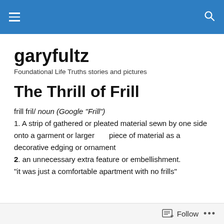garyfultz [navigation header with hamburger menu and search icon]
garyfultz
Foundational Life Truths stories and pictures
The Thrill of Frill
frill fril/ noun (Google "Frill")
1. A strip of gathered or pleated material sewn by one side onto a garment or larger piece of material as a decorative edging or ornament
2. an unnecessary extra feature or embellishment.
"it was just a comfortable apartment with no frills"
Follow ...